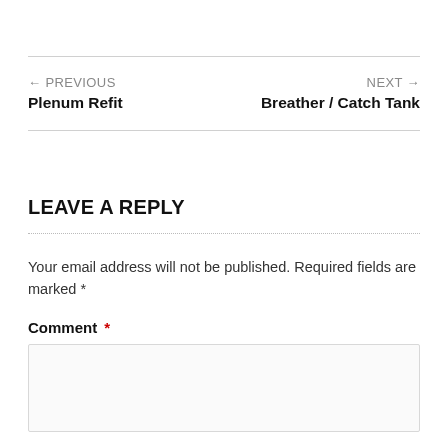← PREVIOUS
Plenum Refit
NEXT →
Breather / Catch Tank
LEAVE A REPLY
Your email address will not be published. Required fields are marked *
Comment *